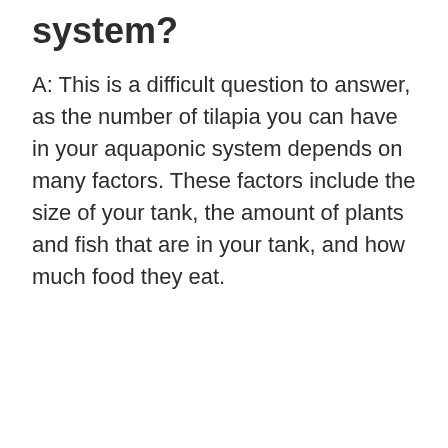system?
A: This is a difficult question to answer, as the number of tilapia you can have in your aquaponic system depends on many factors. These factors include the size of your tank, the amount of plants and fish that are in your tank, and how much food they eat.